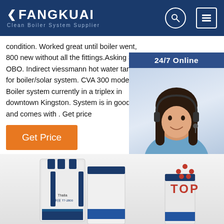FANGKUAI Clean Boiler System Supplier
condition. Worked great until boiler went, 800 new without all the fittings.Asking 350 OBO. Indirect viessmann hot water tanks for boiler/solar system. CVA 300 model. Boiler system currently in a triplex in downtown Kingston. System is in good and comes with . Get price
[Figure (photo): Customer service agent photo with 24/7 Online label, 'Click here for free chat!' text, and QUOTATION button on dark blue background widget]
[Figure (photo): Thalia T7-2800 boiler unit product photo at bottom of page with TOP badge logo in red]